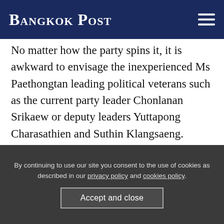Bangkok Post
No matter how the party spins it, it is awkward to envisage the inexperienced Ms Paethongtan leading political veterans such as the current party leader Chonlanan Srikaew or deputy leaders Yuttapong Charasathien and Suthin Klangsaeng.
And the emphasis on Pheu Thai as a "family" may not be a good idea.
By continuing to use our site you consent to the use of cookies as described in our privacy policy and cookies policy.
Accept and close